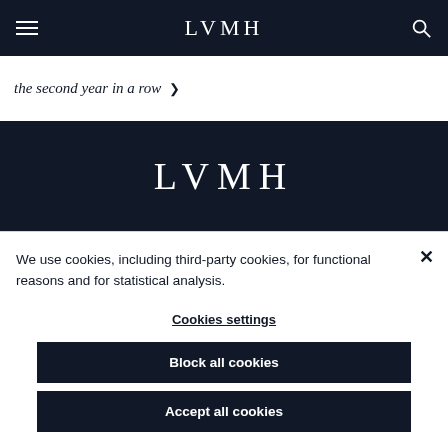LVMH
the second year in a row >
[Figure (logo): LVMH logo in white text on dark navy background]
We use cookies, including third-party cookies, for functional reasons and for statistical analysis.
Cookies settings
Block all cookies
Accept all cookies